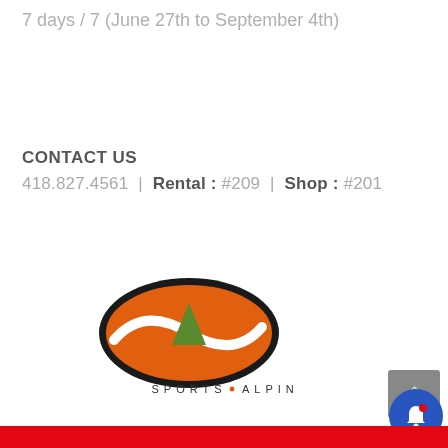7 days / 7 (June 27th to September 4th)
CONTACT US
418.827.4561 | Rental : #209 | Shop : #201
[Figure (logo): Sports Alpins logo: orange oval with black outline, stylized A/mountain shape inside, text SPORTS • ALPINS below]